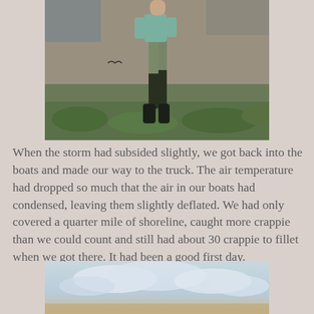[Figure (photo): Person in waders and long sleeves walking or stepping on grassy outdoor terrain with brown dirt and green low plants visible.]
When the storm had subsided slightly, we got back into the boats and made our way to the truck. The air temperature had dropped so much that the air in our boats had condensed, leaving them slightly deflated. We had only covered a quarter mile of shoreline, caught more crappie than we could count and still had about 30 crappie to fillet when we got there. It had been a good first day.
[Figure (photo): Partial photo of cloudy sky with some ground visible at the bottom edge.]